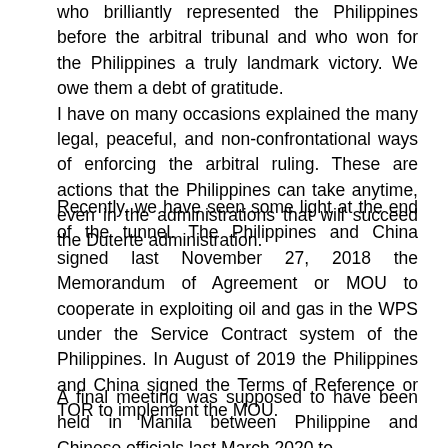Let me thank again the international team of foreign lawyers who brilliantly represented the Philippines before the arbitral tribunal and who won for the Philippines a truly landmark victory. We owe them a debt of gratitude. I have on many occasions explained the many legal, peaceful, and non-confrontational ways of enforcing the arbitral ruling. These are actions that the Philippines can take anytime, even in the administrations that will succeed the Duterte administration.
Recently, we have seen some light at the end of the tunnel. The Philippines and China signed last November 27, 2018 the Memorandum of Agreement or MOU to cooperate in exploiting oil and gas in the WPS under the Service Contract system of the Philippines. In August of 2019 the Philippines and China signed the Terms of Reference or TOR to implement the MOU.
A final meeting was supposed to have been held in Manila between Philippine and Chinese officials last March 2020 to